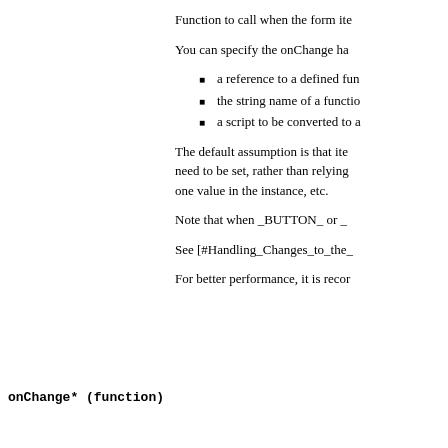Function to call when the form ite
You can specify the onChange ha
a reference to a defined fun
the string name of a functio
a script to be converted to a
onChange* (function)
The default assumption is that ite need to be set, rather than relying one value in the instance, etc.
Note that when _BUTTON_ or _
See [#Handling_Changes_to_the_
For better performance, it is recor